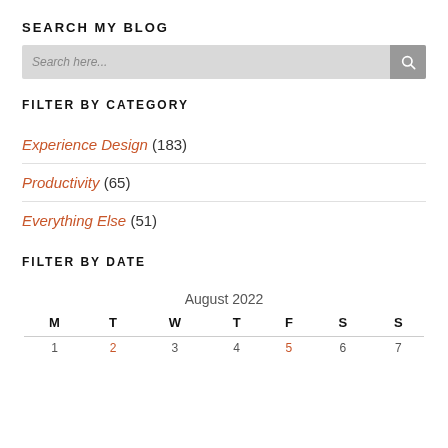SEARCH MY BLOG
Search here...
FILTER BY CATEGORY
Experience Design (183)
Productivity (65)
Everything Else (51)
FILTER BY DATE
| M | T | W | T | F | S | S |
| --- | --- | --- | --- | --- | --- | --- |
| 1 | 2 | 3 | 4 | 5 | 6 | 7 |